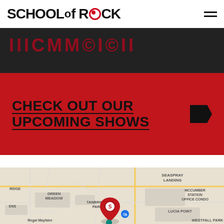SCHOOL OF ROCK
[Figure (screenshot): Dark hero banner with partially visible red outlined text overlay]
CHECK OUT OUR UPCOMING SHOWS
[Figure (map): Google Maps showing area with labels: SEASPRAY LANDING, MCCUMBER STATION OFFICE CONDO, GREEN MEADOW, TANBRIDGE PARK, LUCIA POINT, WESTFALL PARK, Regal Mayfaire. Red location pin with School of Rock icon visible. Blue shopping icon also visible.]